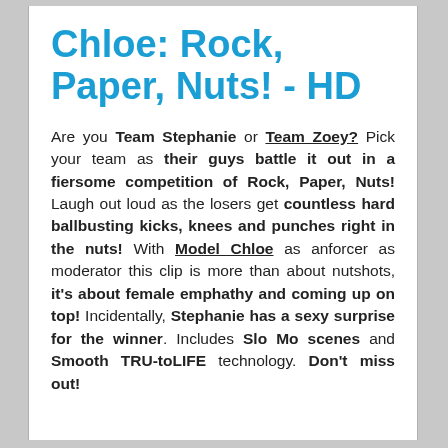Chloe: Rock, Paper, Nuts! - HD
Are you Team Stephanie or Team Zoey? Pick your team as their guys battle it out in a fiersome competition of Rock, Paper, Nuts! Laugh out loud as the losers get countless hard ballbusting kicks, knees and punches right in the nuts! With Model Chloe as anforcer as moderator this clip is more than about nutshots, it's about female emphathy and coming up on top! Incidentally, Stephanie has a sexy surprise for the winner. Includes Slo Mo scenes and Smooth TRU-toLIFE technology. Don't miss out!